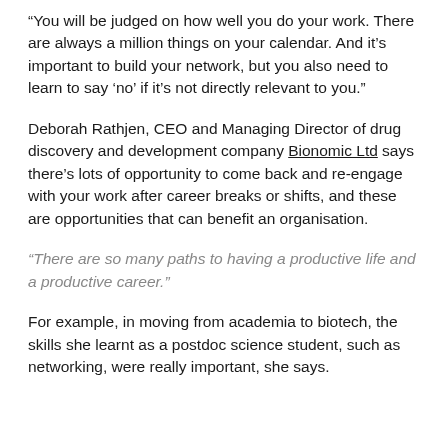“You will be judged on how well you do your work. There are always a million things on your calendar. And it’s important to build your network, but you also need to learn to say ‘no’ if it’s not directly relevant to you.”
Deborah Rathjen, CEO and Managing Director of drug discovery and development company Bionomic Ltd says there’s lots of opportunity to come back and re-engage with your work after career breaks or shifts, and these are opportunities that can benefit an organisation.
“There are so many paths to having a productive life and a productive career.”
For example, in moving from academia to biotech, the skills she learnt as a postdoc science student, such as networking, were really important, she says.